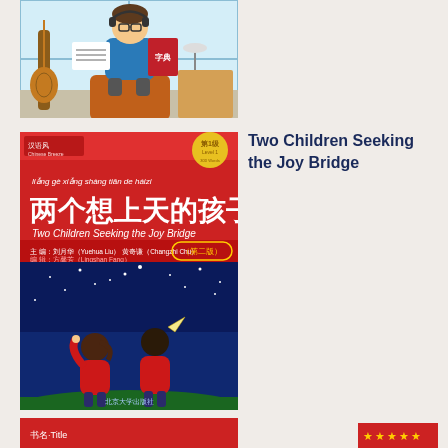[Figure (illustration): Cartoon illustration of a teenage boy sitting on luggage with headphones, holding sheet music and a Chinese dictionary, with a guitar and window behind him]
[Figure (illustration): Book cover for 'Two Children Seeking the Joy Bridge' (两个想上天的孩子), Chinese Breeze graded reader series Level 1, second edition, showing two children in red looking at the night sky, red cover with Chinese and English text]
Two Children Seeking the Joy Bridge
[Figure (illustration): Partial view of another book cover at the bottom of the page, partially cropped]